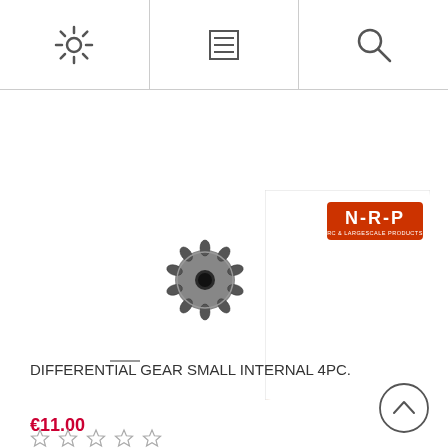[Figure (other): Top navigation bar with three icon cells: settings/gear icon, menu/hamburger icon, and search/magnifier icon]
[Figure (photo): Product photo: a small metal differential gear (bevel pinion gear) on white background, with NRP brand packaging visible in the top-right corner showing orange and white design with N-R-P logo]
DIFFERENTIAL GEAR SMALL INTERNAL 4PC.
€11.00
[Figure (other): Five-star rating widget (empty/outline stars)]
[Figure (other): Back to top circular button with upward chevron]